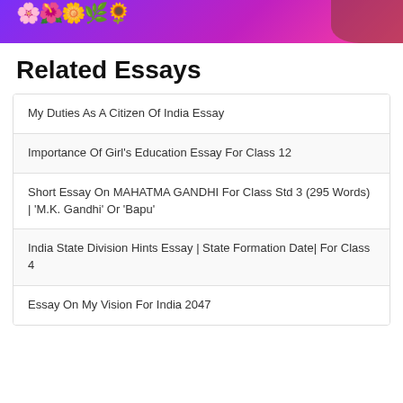[Figure (illustration): Purple and pink gradient banner with colorful flowers on the left and a partial image on the right]
Related Essays
My Duties As A Citizen Of India Essay
Importance Of Girl's Education Essay For Class 12
Short Essay On MAHATMA GANDHI For Class Std 3 (295 Words) | 'M.K. Gandhi' Or 'Bapu'
India State Division Hints Essay | State Formation Date| For Class 4
Essay On My Vision For India 2047